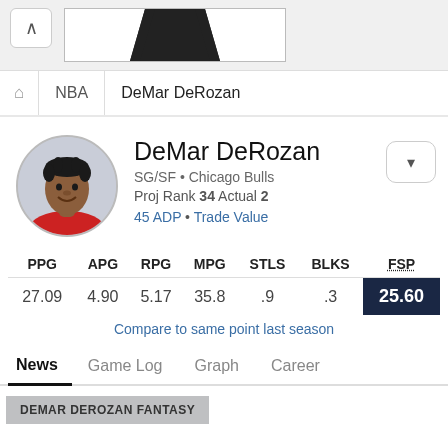[Figure (screenshot): Top navigation bar with back caret and jersey image stub]
🏠 NBA DeMar DeRozan
DeMar DeRozan
SG/SF • Chicago Bulls
Proj Rank 34 Actual 2
45 ADP • Trade Value
| PPG | APG | RPG | MPG | STLS | BLKS | FSP |
| --- | --- | --- | --- | --- | --- | --- |
| 27.09 | 4.90 | 5.17 | 35.8 | .9 | .3 | 25.60 |
Compare to same point last season
News  Game Log  Graph  Career
DEMAR DEROZAN FANTASY